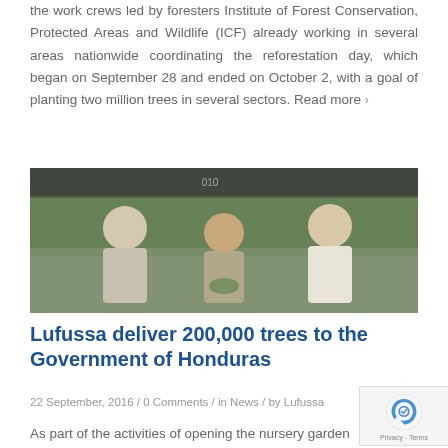the work crews led by foresters Institute of Forest Conservation, Protected Areas and Wildlife (ICF) already working in several areas nationwide coordinating the reforestation day, which began on September 28 and ended on October 2, with a goal of planting two million trees in several sectors. Read more ›
[Figure (photo): Three people examining plant seedlings in a nursery garden under a dark shade net. Two men and one woman, casually dressed, looking at small plants.]
Lufussa deliver 200,000 trees to the Government of Honduras
22 September, 2016 / 0 Comments / in News / by Lufussa
As part of the activities of opening the nursery garden